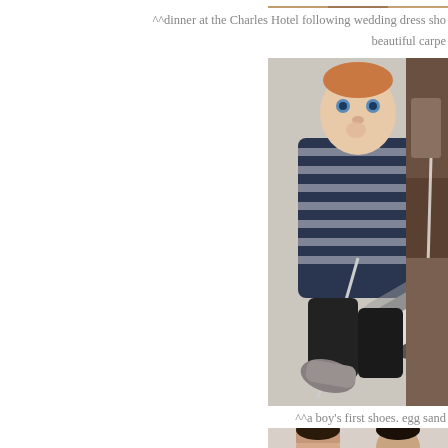[Figure (photo): Partial top strip of a photo, cropped at top of page, showing warm tones.]
^^dinner at the Charles Hotel following wedding dress sho beautiful carpe
[Figure (photo): Baby in a striped blue and white long-sleeve onesie sitting on a gray sofa, holding/chewing on a shoe lace, with a shoe extended toward the camera. A second cropped photo is visible to the right.]
^^a boy's first shoes. egg sand
[Figure (photo): Bottom strip of a photo showing two people, partially cropped at the bottom of the page.]